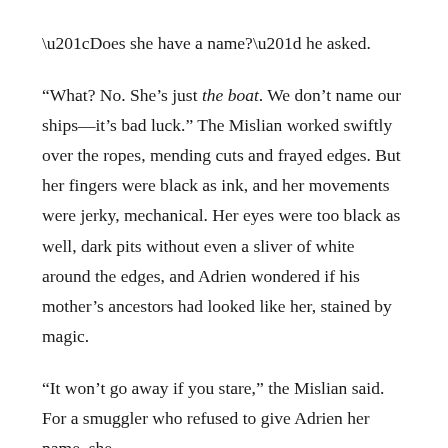“Does she have a name?” he asked.
“What? No. She’s just the boat. We don’t name our ships—it’s bad luck.” The Mislian worked swiftly over the ropes, mending cuts and frayed edges. But her fingers were black as ink, and her movements were jerky, mechanical. Her eyes were too black as well, dark pits without even a sliver of white around the edges, and Adrien wondered if his mother’s ancestors had looked like her, stained by magic.
“It won’t go away if you stare,” the Mislian said. For a smuggler who refused to give Adrien her name, she